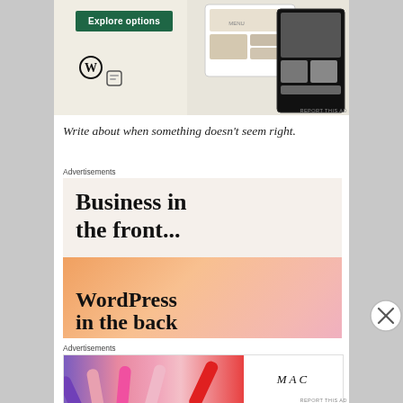[Figure (screenshot): WordPress website builder ad showing 'Explore options' green button, WordPress logo, and food website mockup on mobile/tablet screens. Background is light beige/cream color.]
REPORT THIS AD
Write about when something doesn’t seem right.
Advertisements
[Figure (screenshot): WordPress advertisement with large bold text 'Business in the front...' on light background, then orange/pink gradient section with 'WordPress in the back' text.]
[Figure (screenshot): MAC cosmetics advertisement showing colorful lipsticks (purple, pink, coral, red) with MAC logo in italic letters and 'SHOP NOW' button in a box.]
Advertisements